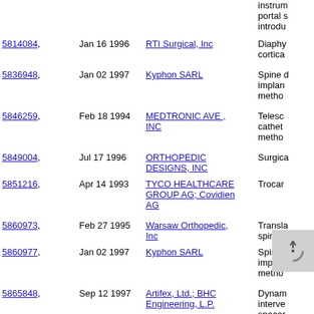instrum portal s introdu
5814084, Jan 16 1996 RTI Surgical, Inc — Diaphy cortica
5836948, Jan 02 1997 Kyphon SARL — Spine d implan metho
5846259, Feb 18 1994 MEDTRONIC AVE , INC — Telesco cathet metho
5849004, Jul 17 1996 ORTHOPEDIC DESIGNS, INC — Surgica
5851216, Apr 14 1993 TYCO HEALTHCARE GROUP AG; Covidien AG — Trocar
5860973, Feb 27 1995 Warsaw Orthopedic, Inc — Transla spinal
5860977, Jan 02 1997 Kyphon SARL — Spine d implan metho
5865848, Sep 12 1997 Artifex, Ltd.; BHC Engineering, L.P. — Dynam interve spacer